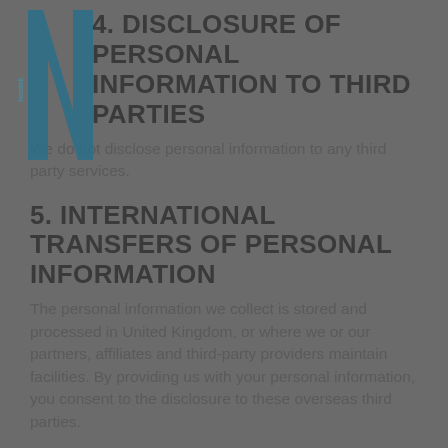4. DISCLOSURE OF PERSONAL INFORMATION TO THIRD PARTIES
We do not disclose personal information to any third party services.
5. INTERNATIONAL TRANSFERS OF PERSONAL INFORMATION
The personal information we collect is stored and processed in United Kingdom, or where we or our partners, affiliates and third-party providers maintain facilities. By providing us with your personal information, you consent to the disclosure to these overseas third parties.